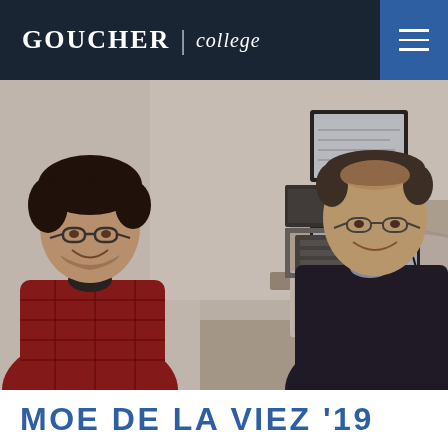GOUCHER | college
[Figure (photo): Two men in an office setting — a young man with dark curly hair and glasses wearing a red plaid shirt on the left, and an older man with glasses wearing a dark jacket on the right, both smiling. A desk with a monitor, laptop, and computer equipment is visible in the background.]
MOE DE LA VIEZ '19